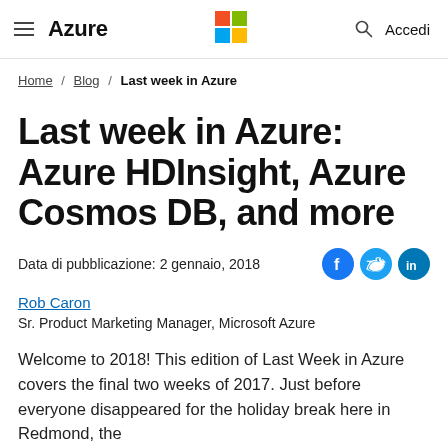Azure | Microsoft Logo | Accedi
Home / Blog / Last week in Azure
Last week in Azure: Azure HDInsight, Azure Cosmos DB, and more
Data di pubblicazione: 2 gennaio, 2018
Rob Caron
Sr. Product Marketing Manager, Microsoft Azure
Welcome to 2018! This edition of Last Week in Azure covers the final two weeks of 2017. Just before everyone disappeared for the holiday break here in Redmond, the